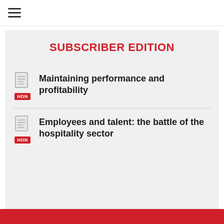☰ (hamburger menu)
SUBSCRIBER EDITION
Maintaining performance and profitability
Employees and talent: the battle of the hospitality sector